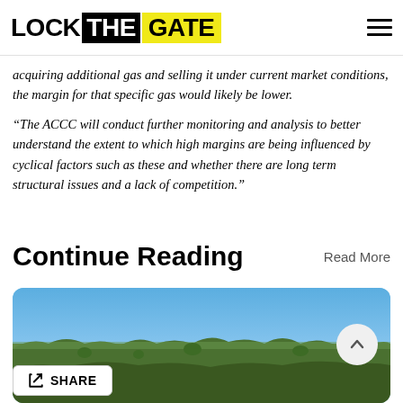LOCK THE GATE
acquiring additional gas and selling it under current market conditions, the margin for that specific gas would likely be lower.
“The ACCC will conduct further monitoring and analysis to better understand the extent to which high margins are being influenced by cyclical factors such as these and whether there are long term structural issues and a lack of competition.”
Continue Reading
Read More
[Figure (photo): Aerial landscape photograph showing flat bushland with scattered trees and blue sky.]